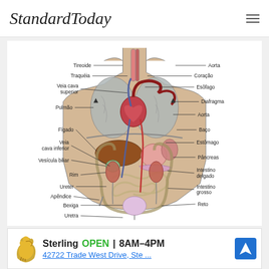StandardToday
[Figure (engineering-diagram): Anatomical diagram of the human torso showing internal organs labeled in Portuguese. Left side labels: Tireoide, Traquéia, Veia cava superior, Pulmão, Fígado, Veia cava inferior, Vesícula biliar, Rim, Ureter, Apêndice, Bexiga, Uretra. Right side labels: Aorta, Coração, Esôfago, Diafragma, Aorta, Baço, Estômago, Pâncreas, Intestino delgado, Intestino grosso, Reto.]
[Figure (other): Advertisement for Sterling business: OPEN 8AM-4PM, 42722 Trade West Drive, Ste ..., with a golden griffin logo and a blue navigation icon.]